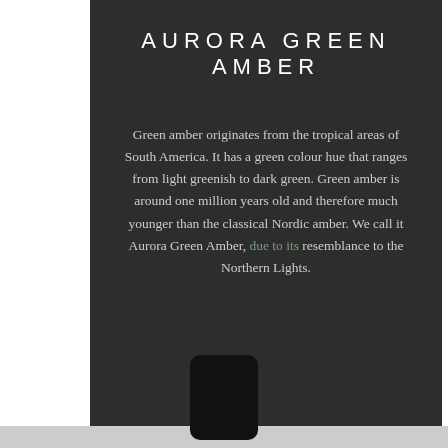AURORA GREEN AMBER
Green amber originates from the tropical areas of South America. It has a green colour hue that ranges from light greenish to dark green. Green amber is around one million years old and therefore much younger than the classical Nordic amber. We call it Aurora Green Amber, due to its resemblance to the Northern Lights.
[Figure (photo): A black rounded rectangle representing a smartphone or device at the bottom of the dark panel]